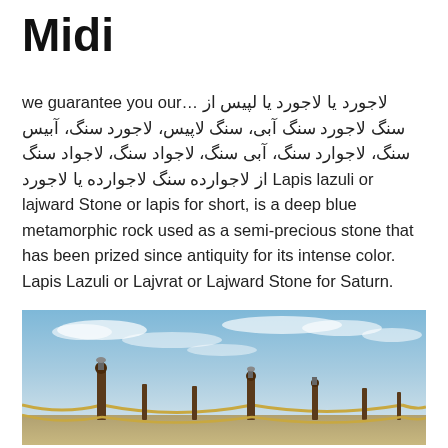Midi
we guarantee you our… لاجورد یا لاجورد یا لپیس از سنگ لاجورد سنگ آبی، سنگ لاپیس، لاجورد سنگ، آبیس سنگ، لاجوارد سنگ، آبی سنگ، لاجواد سنگ، لاجواد سنگ از لاجوارده سنگ لاجوارده یا لاجورد Lapis lazuli or lajward Stone or lapis for short, is a deep blue metamorphic rock used as a semi-precious stone that has been prized since antiquity for its intense color. Lapis Lazuli or Lajvrat or Lajward Stone for Saturn.
[Figure (photo): Outdoor waterfront scene with ornamental iron fence posts connected by rope chains, set against a partly cloudy blue sky. The pier or promenade extends into the distance with lamppost-topped fence posts.]